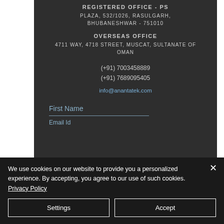REGISTERED OFFICE - PS PLAZA, 532/1026, RASULGARH, BHUBANESHWAR - 751010
OVERSEAS OFFICE
4711 WAY, 4718 STREET, MUSCAT, SULTANATE OF OMAN
(+91) 7003458889
(+91) 7689095405
info@anantatek.com
First Name
Email Id
We use cookies on our website to provide you a personalized experience. By accepting, you agree to our use of such cookies. Privacy Policy
Settings
Accept